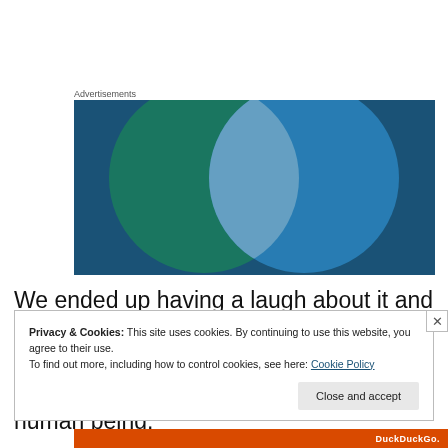Advertisements
[Figure (illustration): Advertisement banner showing two overlapping circles (green and blue) on a dark blue background, resembling a Venn diagram with a light intersection area.]
We ended up having a laugh about it and he truly was concerned about the service and I have to say it felt great to be treated as a human being by another human being.
Privacy & Cookies: This site uses cookies. By continuing to use this website, you agree to their use.
To find out more, including how to control cookies, see here: Cookie Policy
Close and accept
[Figure (screenshot): Bottom bar showing DuckDuckGo logo/text on an orange background.]